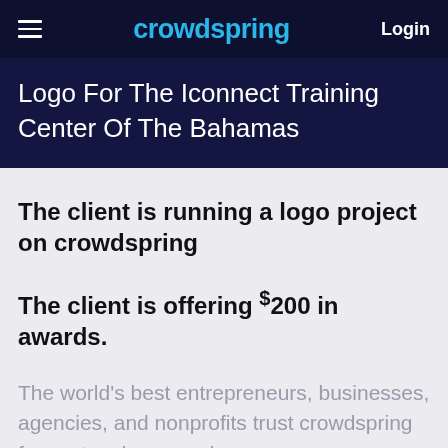crowdspring  Login
Logo For The Iconnect Training Center Of The Bahamas
The client is running a logo project on crowdspring
The client is offering $200 in awards.
The world's best entrepreneurs, businesses, agencies, and nonprofits trust crowdspring for custom logo needs.